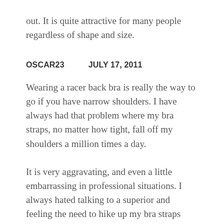out. It is quite attractive for many people regardless of shape and size.
OSCAR23   JULY 17, 2011
Wearing a racer back bra is really the way to go if you have narrow shoulders. I have always had that problem where my bra straps, no matter how tight, fall off my shoulders a million times a day.
It is very aggravating, and even a little embarrassing in professional situations. I always hated talking to a superior and feeling the need to hike up my bra straps every two